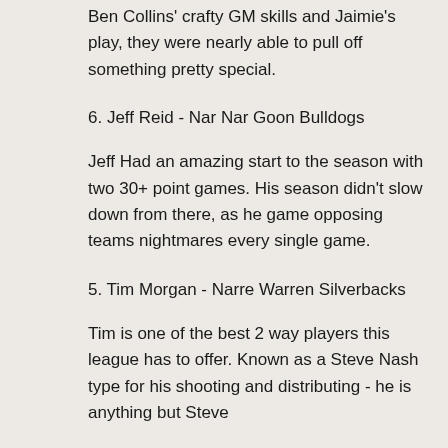Ben Collins' crafty GM skills and Jaimie's play, they were nearly able to pull off something pretty special.
6. Jeff Reid - Nar Nar Goon Bulldogs
Jeff Had an amazing start to the season with two 30+ point games. His season didn't slow down from there, as he game opposing teams nightmares every single game.
5. Tim Morgan - Narre Warren Silverbacks
Tim is one of the best 2 way players this league has to offer. Known as a Steve Nash type for his shooting and distributing - he is anything but Steve